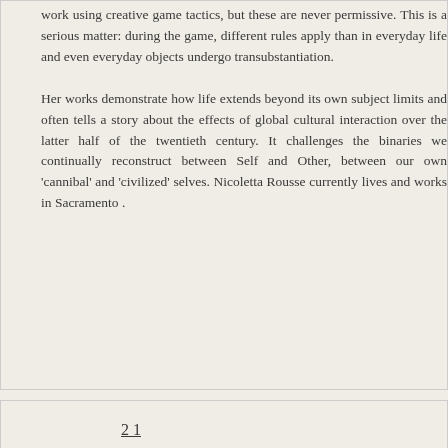work using creative game tactics, but these are never permissive. This is a serious matter: during the game, different rules apply than in everyday life and even everyday objects undergo transubstantiation.
Her works demonstrate how life extends beyond its own subject limits and often tells a story about the effects of global cultural interaction over the latter half of the twentieth century. It challenges the binaries we continually reconstruct between Self and Other, between our own 'cannibal' and 'civilized' selves. Nicoletta Rousse currently lives and works in Sacramento .
2 1
135
Asdfghjkl
Christina